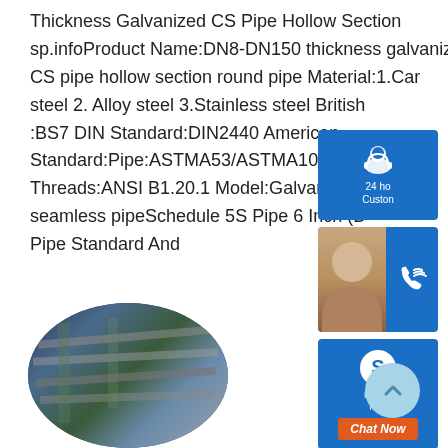Thickness Galvanized CS Pipe Hollow Section sp.infoProduct Name:DN8-DN150 thickness galvanized CS pipe hollow section round pipe Material:1.Carbon steel 2. Alloy steel 3.Stainless steel British Standard:BS7 DIN Standard:DIN2440 American Standard:Pipe:ASTMA53/ASTMA106/ASTM Threads:ANSI B1.20.1 Model:Galvanized pipe seamless pipeSchedule 5S Pipe 6 Inch (DN Pipe Standard And
[Figure (screenshot): Customer support sidebar widgets with headset icon (24h Customer support), phone widget with face photo, Skype widget with Chat Now button, and Reply button]
[Figure (photo): Circular cropped industrial photo showing steel pipes or sheets in a factory/warehouse setting]